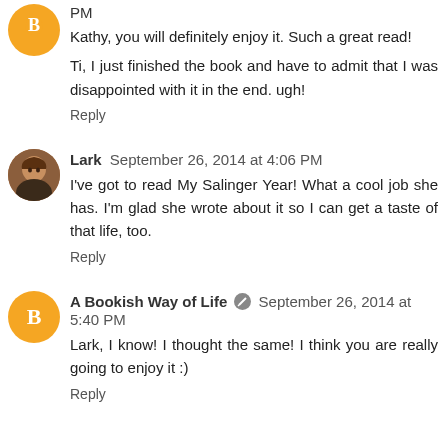PM
Kathy, you will definitely enjoy it. Such a great read!
Ti, I just finished the book and have to admit that I was disappointed with it in the end. ugh!
Reply
Lark  September 26, 2014 at 4:06 PM
I've got to read My Salinger Year! What a cool job she has. I'm glad she wrote about it so I can get a taste of that life, too.
Reply
A Bookish Way of Life  September 26, 2014 at 5:40 PM
Lark, I know! I thought the same! I think you are really going to enjoy it :)
Reply